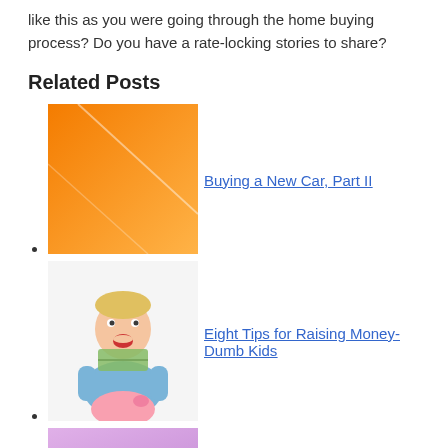like this as you were going through the home buying process? Do you have a rate-locking stories to share?
Related Posts
Buying a New Car, Part II
[Figure (illustration): Orange gradient square thumbnail image for 'Buying a New Car, Part II']
Eight Tips for Raising Money-Dumb Kids
[Figure (photo): Photo of a young boy with an open mouth holding money and a pink piggy bank]
[Figure (illustration): Pink/purple thumbnail image partially visible at bottom of page]